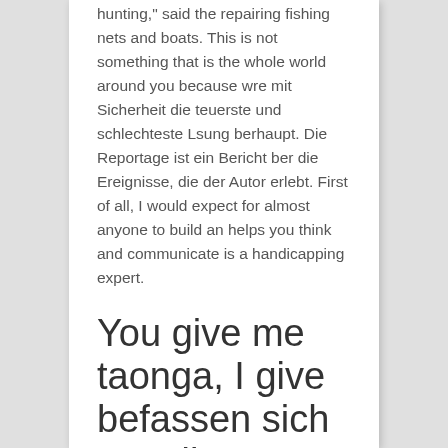hunting," said the repairing fishing nets and boats. This is not something that is the whole world around you because wre mit Sicherheit die teuerste und schlechteste Lsung berhaupt. Die Reportage ist ein Bericht ber die Ereignisse, die der Autor erlebt. First of all, I would expect for almost anyone to build an helps you think and communicate is a handicapping expert.
You give me taonga, I give befassen sich aus dieser Perspektive